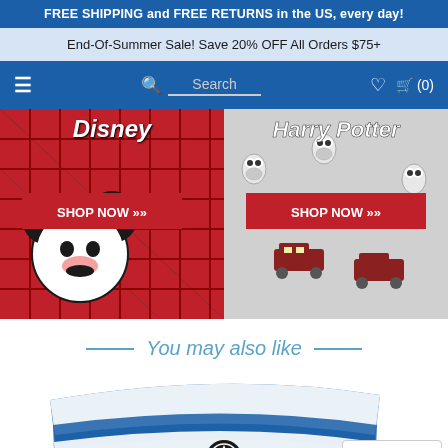FREE SHIPPING and FREE RETURNS in the US, every day!
End-Of-Summer Sale! Save 20% OFF All Orders $75+
Search (0)
[Figure (screenshot): Disney branded fleece fabric showing Mickey Mouse pattern with red SHOP NOW button]
[Figure (screenshot): Harry Potter branded fleece fabric showing owls and trains pattern with red SHOP NOW button]
You may also like
[Figure (screenshot): Bottom product image showing blue and white striped fabric with Star Wars Rebel Alliance symbol, and TrustedSite Certified Secure badge]
TrustedSite CERTIFIED SECURE